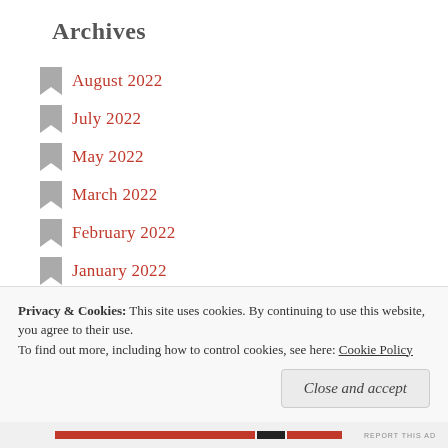Archives
August 2022
July 2022
May 2022
March 2022
February 2022
January 2022
December 2021
May 2021
January 2021
September 2020
Privacy & Cookies:  This site uses cookies. By continuing to use this website, you agree to their use.
To find out more, including how to control cookies, see here: Cookie Policy
Close and accept